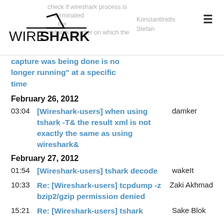[Figure (logo): Wireshark logo with shark fin above text WIRESHARK]
check if wireshark process is terminated ... the network adapter on which the capture was being done is no longer running" at a specific time
Stefan
capture was being done is no longer running" at a specific time
February 26, 2012
03:04  [Wireshark-users] when using tshark -T  the result xml is not exactly the same as using wireshark  damker
February 27, 2012
01:54  [Wireshark-users] tshark decode  wakeIt
10:33  Re: [Wireshark-users] tcpdump -z bzip2/gzip permission denied  Zaki Akhmad
15:21  Re: [Wireshark-users] tshark  Sake Blok